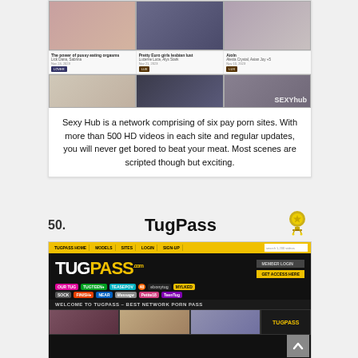[Figure (screenshot): SexyHub website screenshot showing a grid of video thumbnails with titles and dates]
Sexy Hub is a network comprising of six pay porn sites. With more than 500 HD videos in each site and regular updates, you will never get bored to beat your meat. Most scenes are scripted though but exciting.
50.
TugPass
[Figure (screenshot): TugPass website screenshot showing the homepage with logo, navigation bar, network site badges, and welcome banner]